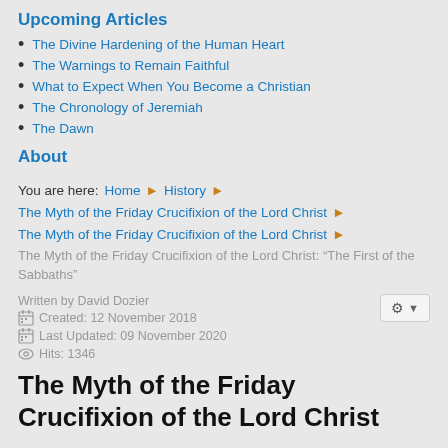Upcoming Articles
The Divine Hardening of the Human Heart
The Warnings to Remain Faithful
What to Expect When You Become a Christian
The Chronology of Jeremiah
The Dawn
About
You are here: Home ▶ History ▶ The Myth of the Friday Crucifixion of the Lord Christ ▶ The Myth of the Friday Crucifixion of the Lord Christ ▶ The Myth of the Friday Crucifixion of the Lord Christ: “The First of the Sabbaths”
Written by David Dozier
Created: 12 November 2018
Last Updated: 09 November 2020
Hits: 1346
The Myth of the Friday Crucifixion of the Lord Christ